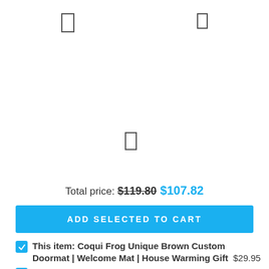[Figure (other): Two small rectangle icon placeholders at top of page, and one rectangle icon placeholder in the middle of the page]
Total price: $119.80 $107.82
ADD SELECTED TO CART
This item: Coqui Frog Unique Brown Custom Doormat | Welcome Mat | House Warming Gift $29.95
Cairn Terrier God Says You Are Doormat $29.95